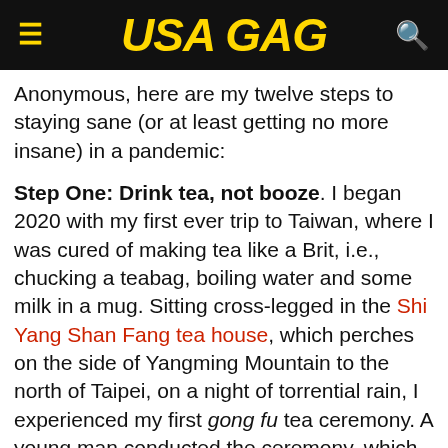USA GAG
Anonymous, here are my twelve steps to staying sane (or at least getting no more insane) in a pandemic:
Step One: Drink tea, not booze. I began 2020 with my first ever trip to Taiwan, where I was cured of making tea like a Brit, i.e., chucking a teabag, boiling water and some milk in a mug. Sitting cross-legged in the Shi Yang Shan Fang tea house, which perches on the side of Yangming Mountain to the north of Taipei, on a night of torrential rain, I experienced my first gong fu tea ceremony. A young man conducted the ceremony, which involves multiple pots and cups, all made of delicate, unglazed clay. “Are you a tea master?” I asked him, somewhat crassly. “No,” he replied serenely. “I am the servant of the tea.”